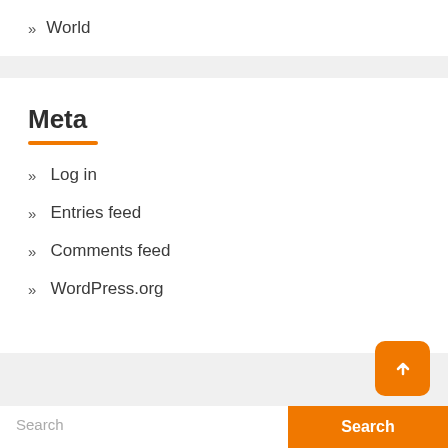» World
Meta
» Log in
» Entries feed
» Comments feed
» WordPress.org
Search